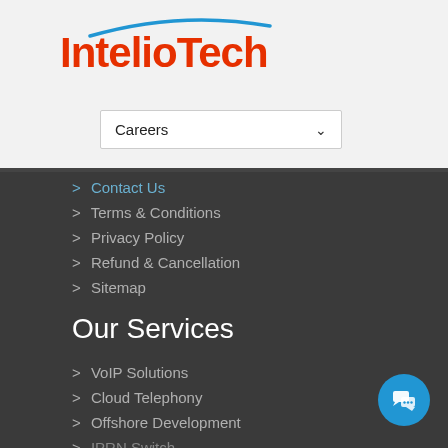[Figure (logo): IntelioTech logo with blue arc above red-orange text]
Careers
> Contact Us
> Terms & Conditions
> Privacy Policy
> Refund & Cancellation
> Sitemap
Our Services
> VoIP Solutions
> Cloud Telephony
> Offshore Development
> IPRN Switch